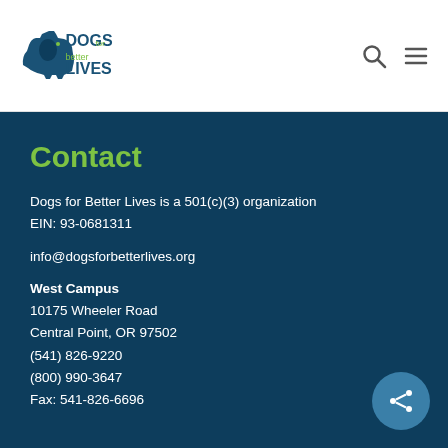[Figure (logo): Dogs for Better Lives logo with dog silhouette and green/blue text]
Contact
Dogs for Better Lives is a 501(c)(3) organization
EIN: 93-0681311
info@dogsforbetterlives.org
West Campus
10175 Wheeler Road
Central Point, OR 97502
(541) 826-9220
(800) 990-3647
Fax: 541-826-6696